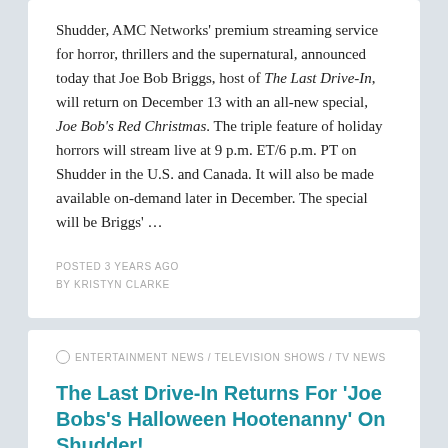Shudder, AMC Networks' premium streaming service for horror, thrillers and the supernatural, announced today that Joe Bob Briggs, host of The Last Drive-In, will return on December 13 with an all-new special, Joe Bob's Red Christmas. The triple feature of holiday horrors will stream live at 9 p.m. ET/6 p.m. PT on Shudder in the U.S. and Canada. It will also be made available on-demand later in December. The special will be Briggs' …
POSTED 3 YEARS AGO
BY KRISTYN CLARKE
ENTERTAINMENT NEWS / TELEVISION SHOWS / TV NEWS
The Last Drive-In Returns For 'Joe Bobs's Halloween Hootenanny' On Shudder!